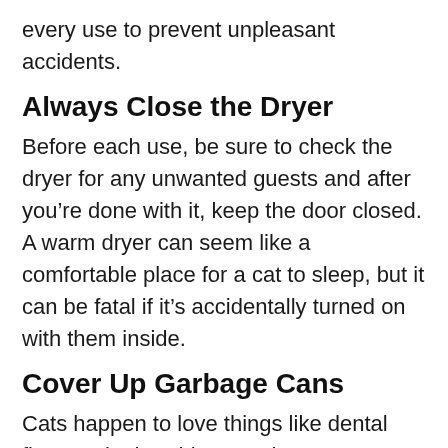every use to prevent unpleasant accidents.
Always Close the Dryer
Before each use, be sure to check the dryer for any unwanted guests and after you’re done with it, keep the door closed. A warm dryer can seem like a comfortable place for a cat to sleep, but it can be fatal if it’s accidentally turned on with them inside.
Cover Up Garbage Cans
Cats happen to love things like dental floss and other things we humans typically